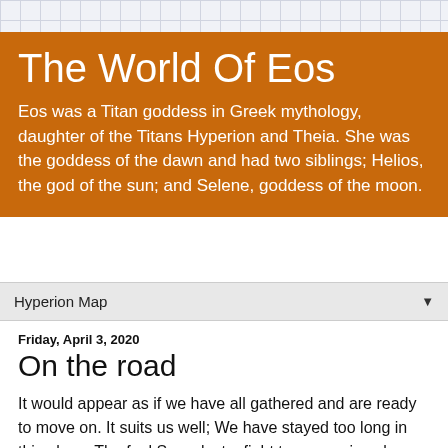The World Of Eos
Eos was a Titan goddess in Greek mythology, daughter of the Titans Hyperion and Theia. She was the goddess of the dawn and had two siblings; Helios, the god of the sun; and Selene, goddess of the moon.
Hyperion Map
Friday, April 3, 2020
On the road
It would appear as if we have all gathered and are ready to move on.  It suits us well; We have stayed too long in this place. The fool Snow lost a fight to a prancing clown with a toothpick.  It serves Sir this and Sir that right; pride in one's station will lead to a fall.
I must worry about the pirate and the pike.  Who is is this